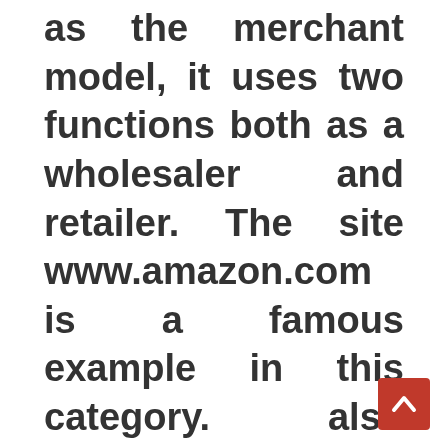as the merchant model, it uses two functions both as a wholesaler and retailer. The site www.amazon.com is a famous example in this category. also includes companies such as Wal-Mart, which have successful online operations, and there are also suppliers whose products are